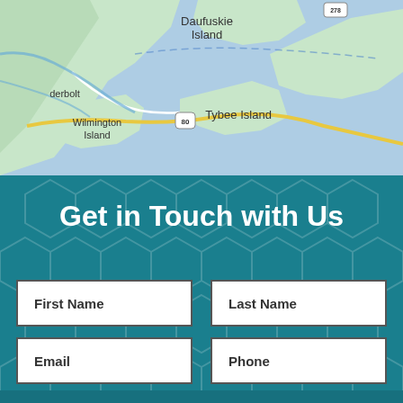[Figure (map): Google Maps style map showing coastal Georgia area including Daufuskie Island, Tybee Island, Wilmington Island, and Thunderbolt, with ocean/Atlantic coast visible]
Get in Touch with Us
First Name
Last Name
Email
Phone